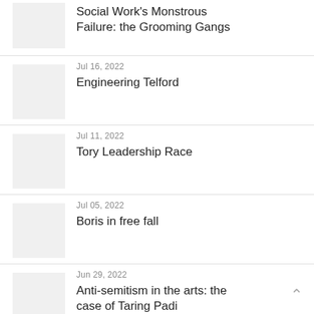Social Work’s Monstrous Failure: the Grooming Gangs
Jul 16, 2022
Engineering Telford
Jul 11, 2022
Tory Leadership Race
Jul 05, 2022
Boris in free fall
Jun 29, 2022
Anti-semitism in the arts: the case of Taring Padi
Jun 25, 2022